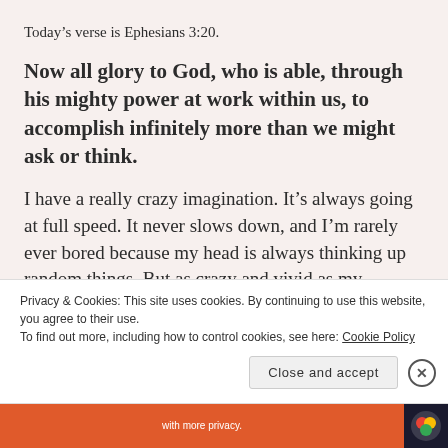Today’s verse is Ephesians 3:20.
Now all glory to God, who is able, through his mighty power at work within us, to accomplish infinitely more than we might ask or think.
I have a really crazy imagination. It’s always going at full speed. It never slows down, and I’m rarely ever bored because my head is always thinking up random things. But as crazy and vivid as my imagination is, even I tend to put God in a box.
Privacy & Cookies: This site uses cookies. By continuing to use this website, you agree to their use.
To find out more, including how to control cookies, see here: Cookie Policy
Close and accept
with more privacy.